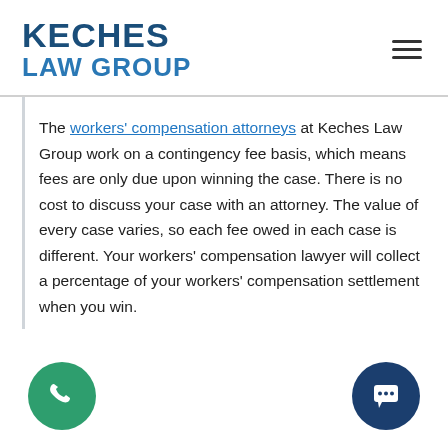[Figure (logo): Keches Law Group logo with text KECHES in dark blue and LAW GROUP in lighter blue]
The workers' compensation attorneys at Keches Law Group work on a contingency fee basis, which means fees are only due upon winning the case. There is no cost to discuss your case with an attorney. The value of every case varies, so each fee owed in each case is different. Your workers' compensation lawyer will collect a percentage of your workers' compensation settlement when you win.